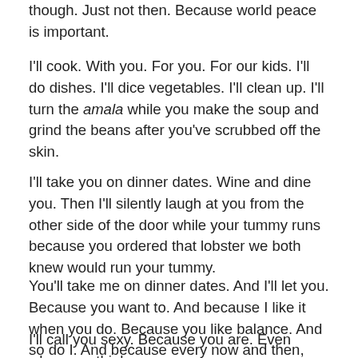though. Just not then. Because world peace is important.
I'll cook. With you. For you. For our kids. I'll do dishes. I'll dice vegetables. I'll clean up. I'll turn the amala while you make the soup and grind the beans after you've scrubbed off the skin.
I'll take you on dinner dates. Wine and dine you. Then I'll silently laugh at you from the other side of the door while your tummy runs because you ordered that lobster we both knew would run your tummy.
You'll take me on dinner dates. And I'll let you. Because you want to. And because I like it when you do. Because you like balance. And so do I. And because every now and then, only rarely, I'll be broke.
I'll call you sexy. Because you are. Even when you think